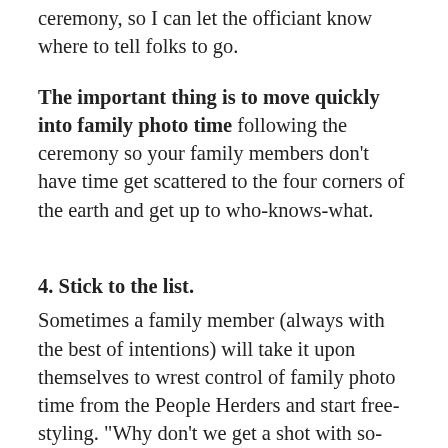ceremony, so I can let the officiant know where to tell folks to go.
The important thing is to move quickly into family photo time following the ceremony so your family members don't have time get scattered to the four corners of the earth and get up to who-knows-what.
4. Stick to the list.
Sometimes a family member (always with the best of intentions) will take it upon themselves to wrest control of family photo time from the People Herders and start free-styling. “Why don’t we get a shot with so-and-so?”, they’ll say. Soon they’re suggesting every imaginable combination of family members and the next thing you know it’s midnight and we’re still taking family photos in the cold dark